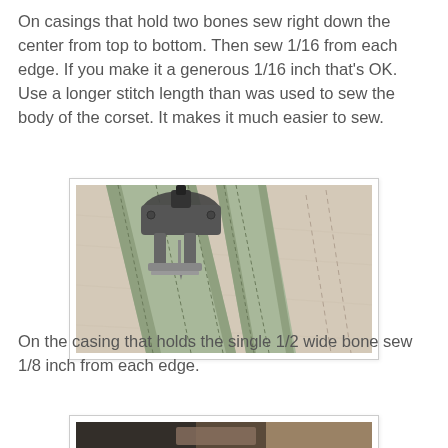On casings that hold two bones sew right down the center from top to bottom. Then sew 1/16 from each edge. If you make it a generous 1/16 inch that's OK. Use a longer stitch length than was used to sew the body of the corset. It makes it much easier to sew.
[Figure (photo): Close-up photo of a sewing machine presser foot stitching down the center of a pale green fabric boning casing laid on beige/cream fabric. Multiple parallel stitching lines are visible.]
On the casing that holds the single 1/2 wide bone sew 1/8 inch from each edge.
[Figure (photo): Partial photo of a sewing machine working on fabric, cropped at bottom of page.]